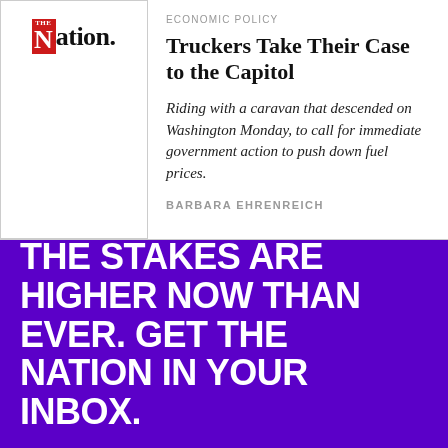[Figure (logo): The Nation magazine logo with red box containing stylized 'N' and 'The' text, followed by 'ation.' in black serif font]
ECONOMIC POLICY
Truckers Take Their Case to the Capitol
Riding with a caravan that descended on Washington Monday, to call for immediate government action to push down fuel prices.
BARBARA EHRENREICH
THE STAKES ARE HIGHER NOW THAN EVER. GET THE NATION IN YOUR INBOX.